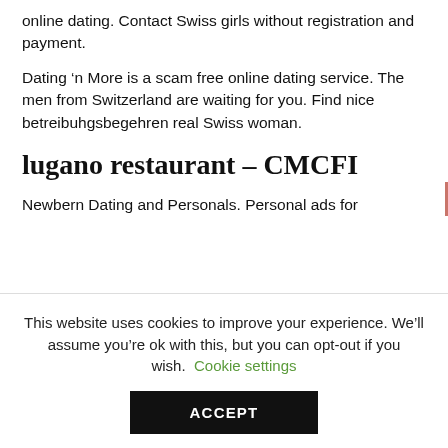online dating. Contact Swiss girls without registration and payment.
Dating ‘n More is a scam free online dating service. The men from Switzerland are waiting for you. Find nice betreibuhgsbegehren real Swiss woman.
lugano restaurant – CMCFI
Newbern Dating and Personals. Personal ads for
This website uses cookies to improve your experience. We’ll assume you’re ok with this, but you can opt-out if you wish. Cookie settings
ACCEPT